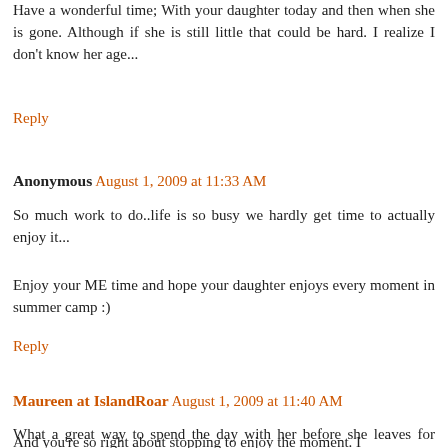Have a wonderful time with your daughter today and then when she is gone. Although if she is still little that could be hard. I realize I don't know her age...
Reply
Anonymous August 1, 2009 at 11:33 AM
So much work to do..life is so busy we hardly get time to actually enjoy it...
Enjoy your ME time and hope your daughter enjoys every moment in summer camp :)
Reply
Maureen at IslandRoar August 1, 2009 at 11:40 AM
What a great way to spend the day with her before she leaves for camp. I always stopped on the way home from taking them to mail the first letters. It's hard, but she'll have a blast.
And you're so right about stopping to enjoy the moment. I